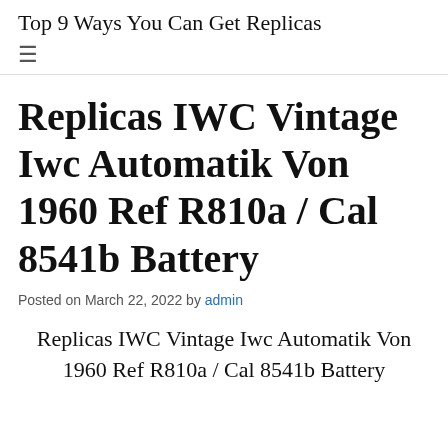Top 9 Ways You Can Get Replicas
Replicas IWC Vintage Iwc Automatik Von 1960 Ref R810a / Cal 8541b Battery
Posted on March 22, 2022 by admin
Replicas IWC Vintage Iwc Automatik Von 1960 Ref R810a / Cal 8541b Battery